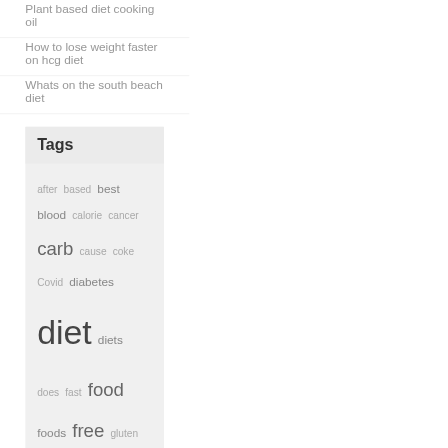Plant based diet cooking oil
How to lose weight faster on hcg diet
Whats on the south beach diet
Tags
after based best blood calorie cancer carb cause coke Covid diabetes diet diets does fast food foods free gluten good health healthy heart high keto ketogenic liquid list lose loss meal mediterranean paleo pills plan? plant protein recipes sugar vegan water week weight what with
Copyright 2020
Iconic One Theme | Powered by Wordpress